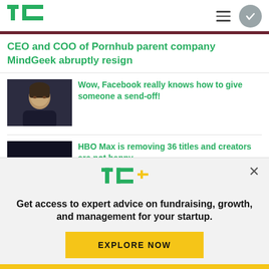TechCrunch
CEO and COO of Pornhub parent company MindGeek abruptly resign
[Figure (photo): Photo of a woman looking down, appearing to be at a formal hearing or event]
Wow, Facebook really knows how to give someone a send-off!
[Figure (photo): Photo with HBO Max logo in dark tones]
HBO Max is removing 36 titles and creators are not happy
[Figure (infographic): TC+ promotional popup overlay with TechCrunch Plus logo and call to action to explore expert advice on fundraising, growth, and management for startups]
Get access to expert advice on fundraising, growth, and management for your startup.
EXPLORE NOW